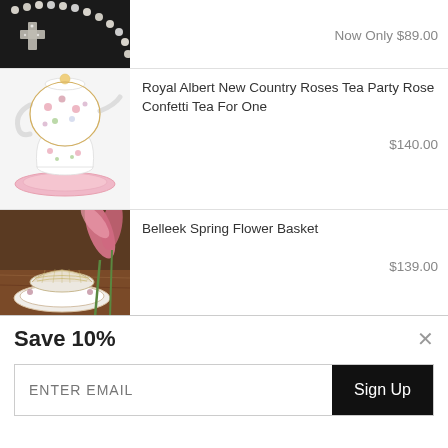[Figure (photo): Partial view of jewelry item (cross pendant with pearl necklace on dark background) with price tag 'Now Only $89.00']
Now Only $89.00
[Figure (photo): Royal Albert floral teapot set (tea for one) with pink saucer on white background]
Royal Albert New Country Roses Tea Party Rose Confetti Tea For One
$140.00
[Figure (photo): Belleek woven basket with floral decorative plate on wooden surface with pink lily flowers]
Belleek Spring Flower Basket
$139.00
Save 10%
ENTER EMAIL
Sign Up